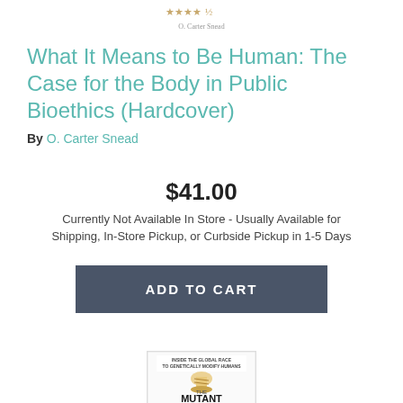★★★★½  O. Carter Snead
What It Means to Be Human: The Case for the Body in Public Bioethics (Hardcover)
By O. Carter Snead
$41.00
Currently Not Available In Store - Usually Available for Shipping, In-Store Pickup, or Curbside Pickup in 1-5 Days
ADD TO CART
[Figure (photo): Book cover for The Mutant - Inside the Global Race to Genetically Modify Humans, showing partial cover with title text]